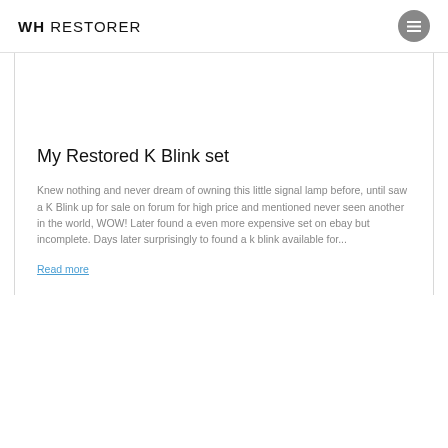WH RESTORER
My Restored K Blink set
Knew nothing and never dream of owning this little signal lamp before, until saw a K Blink up for sale on forum for high price and mentioned never seen another in the world, WOW! Later found a even more expensive set on ebay but incomplete. Days later surprisingly to found a k blink available for...
Read more